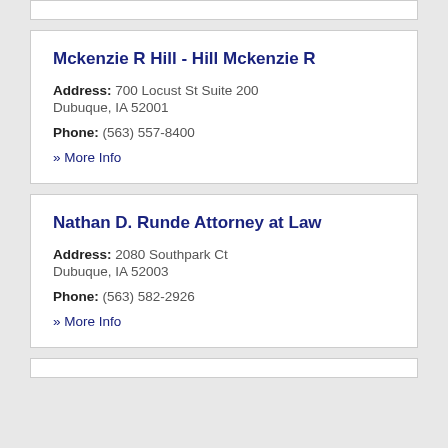Mckenzie R Hill - Hill Mckenzie R
Address: 700 Locust St Suite 200
Dubuque, IA 52001
Phone: (563) 557-8400
» More Info
Nathan D. Runde Attorney at Law
Address: 2080 Southpark Ct
Dubuque, IA 52003
Phone: (563) 582-2926
» More Info